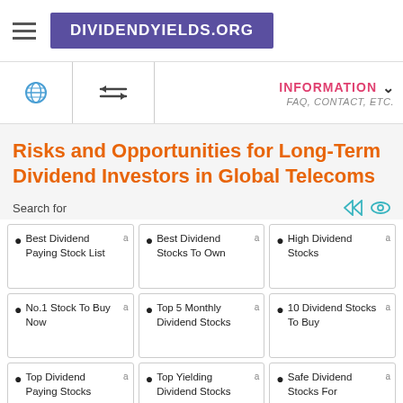DIVIDENDYIELDS.ORG
Risks and Opportunities for Long-Term Dividend Investors in Global Telecoms
Search for
Best Dividend Paying Stock List
Best Dividend Stocks To Own
High Dividend Stocks
No.1 Stock To Buy Now
Top 5 Monthly Dividend Stocks
10 Dividend Stocks To Buy
Top Dividend Paying Stocks
Top Yielding Dividend Stocks
Safe Dividend Stocks For